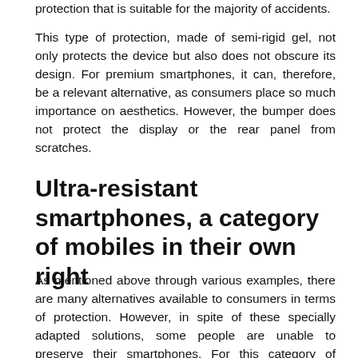protection that is suitable for the majority of accidents.
This type of protection, made of semi-rigid gel, not only protects the device but also does not obscure its design. For premium smartphones, it can, therefore, be a relevant alternative, as consumers place so much importance on aesthetics. However, the bumper does not protect the display or the rear panel from scratches.
Ultra-resistant smartphones, a category of mobiles in their own right
As mentioned above through various examples, there are many alternatives available to consumers in terms of protection. However, in spite of these specially adapted solutions, some people are unable to preserve their smartphones. For this category of consumers, it seems wise to opt for special smartphones. For the clumsiest, most adventurous or unluckiest, some manufacturers have developed extremely robust smartphones.